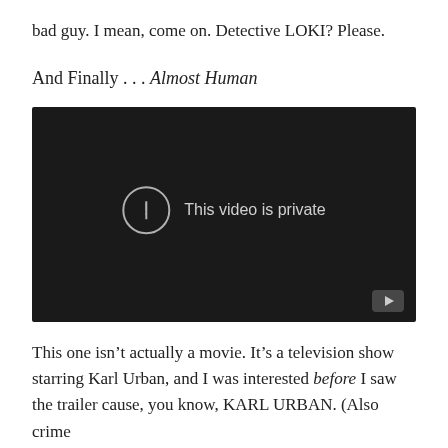bad guy. I mean, come on. Detective LOKI? Please.
And Finally . . . Almost Human
[Figure (screenshot): Embedded video player showing 'This video is private' message on a dark background with a YouTube play button in the bottom right corner.]
This one isn't actually a movie. It's a television show starring Karl Urban, and I was interested before I saw the trailer cause, you know, KARL URBAN. (Also crime